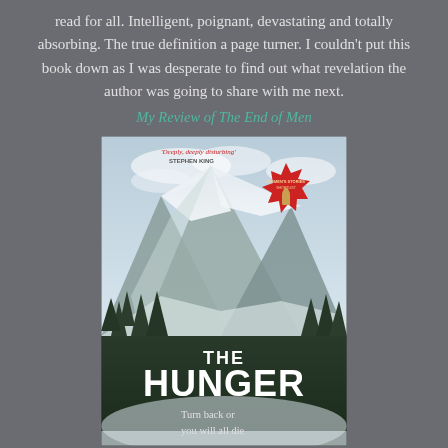read for all. Intelligent, poignant, devastating and totally absorbing. The true definition a page turner. I couldn't put this book down as I was desperate to find out what revelation the author was going to share with me next.
My Review of The End of Men
[Figure (illustration): Book cover of 'The Hunger' showing a snowy mountain scene with pine trees. Text at top reads 'Deeply, deeply disturbing' STEPHEN KING. A red starburst badge appears on the right. Large white text reads 'THE HUNGER'. Below: 'Turn back or you will all die'.]